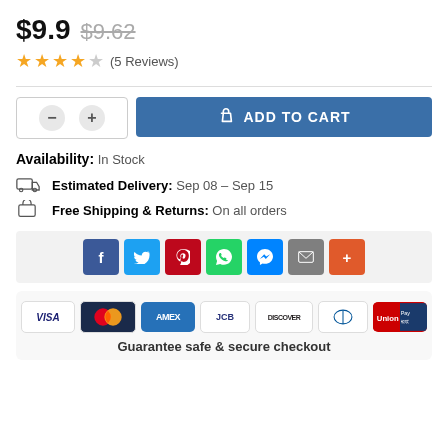$9.9  $9.62
★★★★☆ (5 Reviews)
ADD TO CART
Availability: In Stock
Estimated Delivery: Sep 08 – Sep 15
Free Shipping & Returns: On all orders
[Figure (infographic): Social sharing buttons: Facebook, Twitter, Pinterest, WhatsApp, Messenger, Email, Plus]
[Figure (infographic): Payment card logos: VISA, Mastercard, AMEX, JCB, Discover, Diners Club, UnionPay]
Guarantee safe & secure checkout